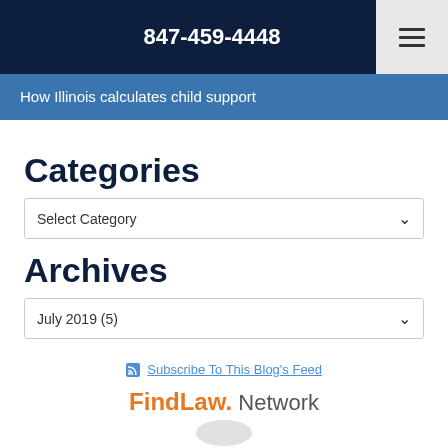847-459-4448
How Illinois calculates child support
Categories
Select Category
Archives
July 2019  (5)
Subscribe To This Blog's Feed
FindLaw. Network